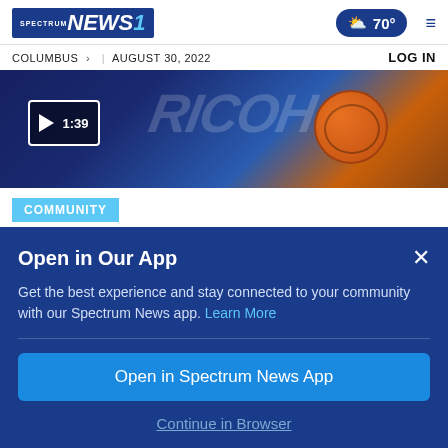Spectrum NEWS1 | 70° | ≡
COLUMBUS > | AUGUST 30, 2022    LOG IN
[Figure (screenshot): Video thumbnail showing a basketball on a court, with a play button overlay showing 1:39 duration]
COMMUNITY
Cleveland program keeps young men off
Open in Our App
Get the best experience and stay connected to your community with our Spectrum News app. Learn More
Open in Spectrum News App
Continue in Browser